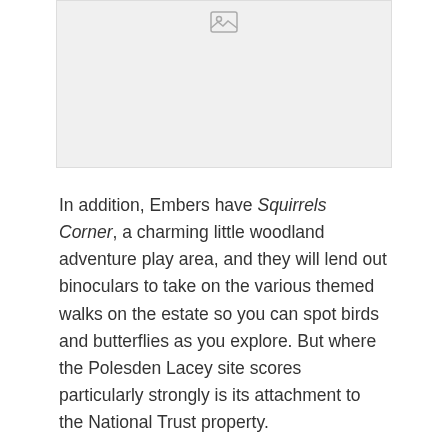[Figure (photo): Placeholder image area (broken image icon visible) — a photo that failed to load]
In addition, Embers have Squirrels Corner, a charming little woodland adventure play area, and they will lend out binoculars to take on the various themed walks on the estate so you can spot birds and butterflies as you explore. But where the Polesden Lacey site scores particularly strongly is its attachment to the National Trust property.
[Figure (photo): Partial photo of a woodland/forest scene with dense green foliage visible at the bottom of the page]